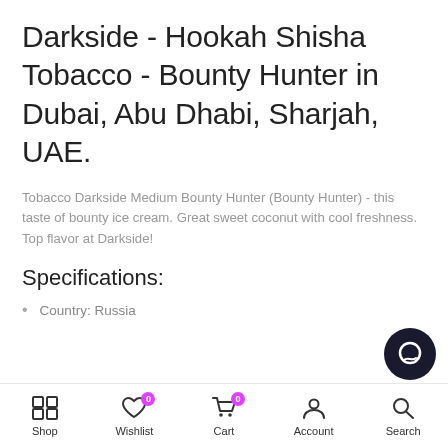Darkside - Hookah Shisha Tobacco - Bounty Hunter in Dubai, Abu Dhabi, Sharjah, UAE.
Tobacco Darkside Medium Bounty Hunter (Bounty Hunter) - this taste of bounty ice cream. Great sweet coconut with cool freshness. Top flavor at Darkside!
Specifications:
Country: Russia
Shop  Wishlist 0  Cart 0  Account  Search